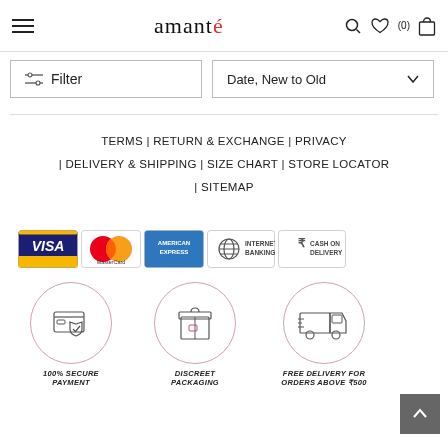amanté — Filter | Date, New to Old
TERMS | RETURN & EXCHANGE | PRIVACY | DELIVERY & SHIPPING | SIZE CHART | STORE LOCATOR | SITEMAP
[Figure (infographic): Payment method icons: VISA, MasterCard, American Express, Internet Banking, Cash on Delivery]
[Figure (infographic): Three service icons with captions: 100% SECURE PAYMENT, DISCREET PACKAGING, FREE DELIVERY FOR ORDERS ABOVE ₹500]